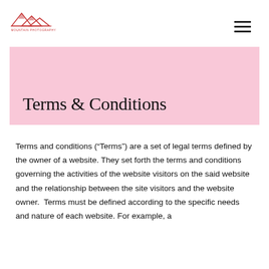[Figure (logo): Mountain photography logo with red/salmon colored mountain peaks illustration and text below]
Terms & Conditions
Terms and conditions (“Terms”) are a set of legal terms defined by the owner of a website. They set forth the terms and conditions governing the activities of the website visitors on the said website and the relationship between the site visitors and the website owner.  Terms must be defined according to the specific needs and nature of each website. For example, a